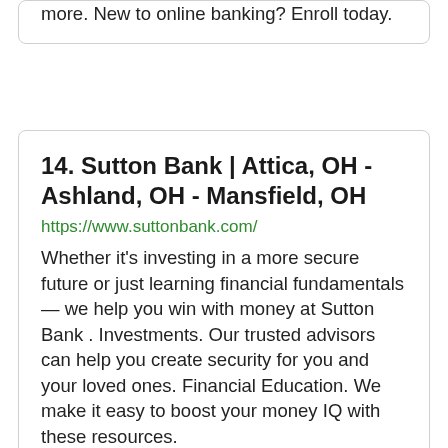more. New to online banking? Enroll today.
14. Sutton Bank | Attica, OH - Ashland, OH - Mansfield, OH
https://www.suttonbank.com/
Whether it's investing in a more secure future or just learning financial fundamentals — we help you win with money at Sutton Bank . Investments. Our trusted advisors can help you create security for you and your loved ones. Financial Education. We make it easy to boost your money IQ with these resources.